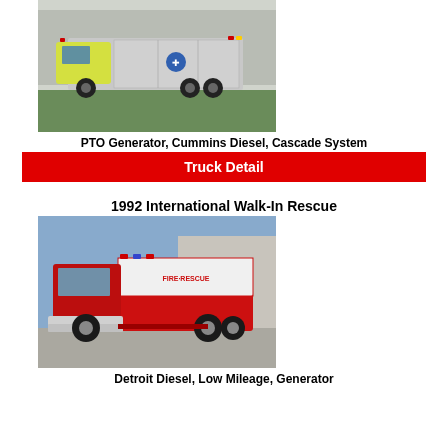[Figure (photo): Yellow fire/rescue truck (ambulance style) with silver body and Star of Life emblem, parked on a gravel/grass area.]
PTO Generator, Cummins Diesel, Cascade System
Truck Detail
1992 International Walk-In Rescue
[Figure (photo): Red and white International walk-in rescue truck with 'FIRE-RESCUE' text, parked on a paved lot.]
Detroit Diesel, Low Mileage, Generator